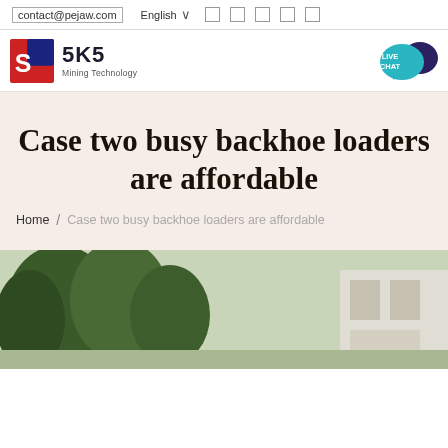contact@pejaw.com  English  □ □ □ □ □
[Figure (logo): SKS Mining Technology logo with red and blue geometric S icon]
[Figure (other): Live Chat button in teal with speech bubble icon]
Case two busy backhoe loaders are affordable
Home / Case two busy backhoe loaders are affordable
[Figure (photo): Partial photo of outdoor scene with trees and a building structure at the bottom of the page]